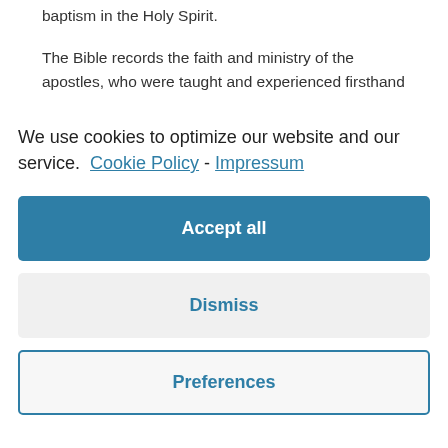baptism in the Holy Spirit.
The Bible records the faith and ministry of the apostles, who were taught and experienced firsthand
We use cookies to optimize our website and our service. Cookie Policy - Impressum
Accept all
Dismiss
Preferences
Tertullian, Origen, and many others began to develop